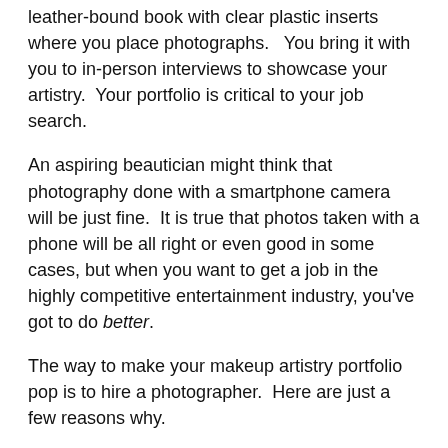leather-bound book with clear plastic inserts where you place photographs.   You bring it with you to in-person interviews to showcase your artistry.  Your portfolio is critical to your job search.
An aspiring beautician might think that photography done with a smartphone camera will be just fine.  It is true that photos taken with a phone will be all right or even good in some cases, but when you want to get a job in the highly competitive entertainment industry, you've got to do better.
The way to make your makeup artistry portfolio pop is to hire a photographer.  Here are just a few reasons why.
Camera type matters
Even if you have the latest android smartphone or iPhone, a DSLR camera, in the right hands, will always produce better quality photos.  Without going into too much